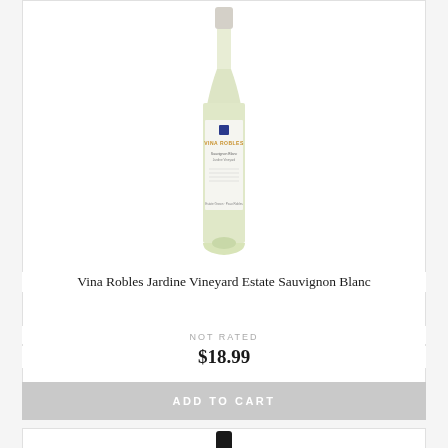[Figure (photo): White wine bottle - Vina Robles Jardine Vineyard Estate Sauvignon Blanc, light green glass bottle with white label]
Vina Robles Jardine Vineyard Estate Sauvignon Blanc
NOT RATED
$18.99
ADD TO CART
[Figure (photo): Red wine bottle - dark bottle with black capsule, partially visible]